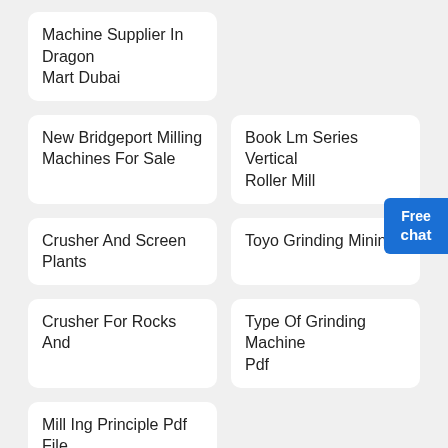Machine Supplier In Dragon Mart Dubai
New Bridgeport Milling Machines For Sale
Book Lm Series Vertical Roller Mill
Crusher And Screen Plants
Toyo Grinding Mining
Crusher For Rocks And
Type Of Grinding Machine Pdf
Mill Ing Principle Pdf File
Free chat
Home  Product  Case  Contact  About
Sales Hotline:
+86-21-58386189,58386176